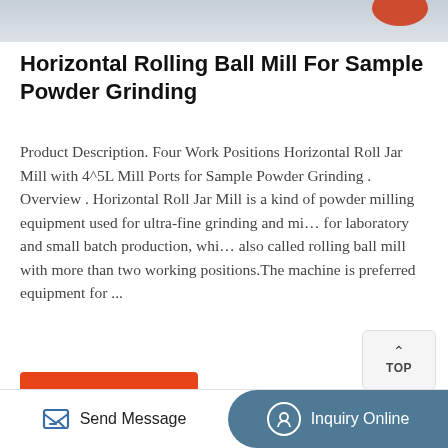[Figure (photo): Top portion of a product photo showing a Horizontal Rolling Ball Mill, partially cropped at the top of the page]
Horizontal Rolling Ball Mill For Sample Powder Grinding
Product Description. Four Work Positions Horizontal Roll Jar Mill with 4^5L Mill Ports for Sample Powder Grinding . Overview . Horizontal Roll Jar Mill is a kind of powder milling equipment used for ultra-fine grinding and mi… for laboratory and small batch production, whi… also called rolling ball mill with more than two working positions.The machine is preferred equipment for ...
Get Price →
Send Message   Inquiry Online